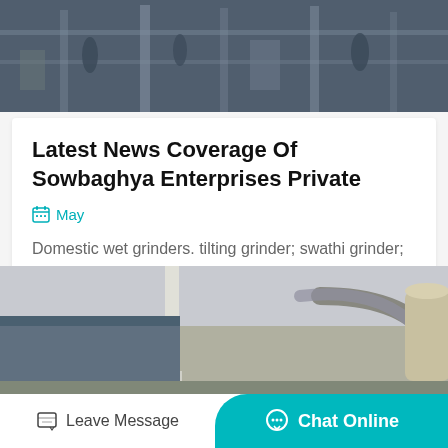[Figure (photo): Industrial facility interior with machinery and workers visible, top banner photo]
Latest News Coverage Of Sowbaghya Enterprises Private
May
Domestic wet grinders. tilting grinder; swathi grinder; swathi wet grinder 2ltr tilting wet grinder 2ltr; rechargeable fan....
Get Price
[Figure (photo): Outdoor industrial equipment with pipes and cylindrical structures, bottom photo]
Leave Message  Chat Online